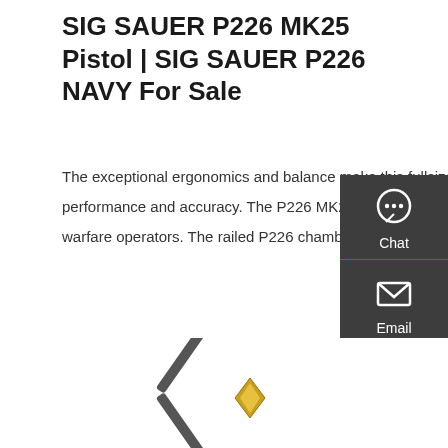SIG SAUER P226 MK25 Pistol | SIG SAUER P226 NAVY For Sale
The exceptional ergonomics and balance make this fullsize pistol easy to handle. Its longer barrel yields better ballistic performance and accuracy. The P226 MK25 is identical to the pistol carried by the U.S. Navy SEALs, the fleet's special warfare operators. The railed P226 chambered in 9mm and engraved with an anchor on the left side of the
Get a quote
[Figure (screenshot): Sidebar with Chat, Email, and Contact icons on dark grey background]
[Figure (photo): Crossed items (possibly crossed swords or tools) with gold/metallic coloring at bottom of page]